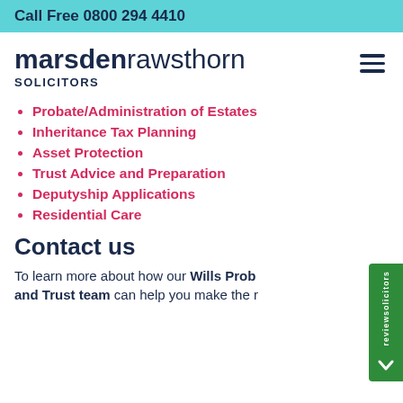Call Free 0800 294 4410
marsdenrawsthorn SOLICITORS
Probate/Administration of Estates
Inheritance Tax Planning
Asset Protection
Trust Advice and Preparation
Deputyship Applications
Residential Care
Contact us
To learn more about how our Wills Prob and Trust team can help you make the r decisions for you and your family, ple